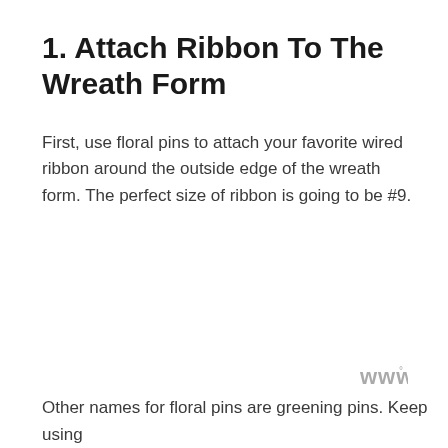1. Attach Ribbon To The Wreath Form
First, use floral pins to attach your favorite wired ribbon around the outside edge of the wreath form. The perfect size of ribbon is going to be #9.
[Figure (logo): Small grey watermark logo with stylized 'w' and degree symbol]
Other names for floral pins are greening pins. Keep using